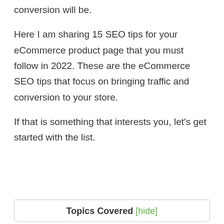conversion will be.
Here I am sharing 15 SEO tips for your eCommerce product page that you must follow in 2022. These are the eCommerce SEO tips that focus on bringing traffic and conversion to your store.
If that is something that interests you, let's get started with the list.
Topics Covered [hide]